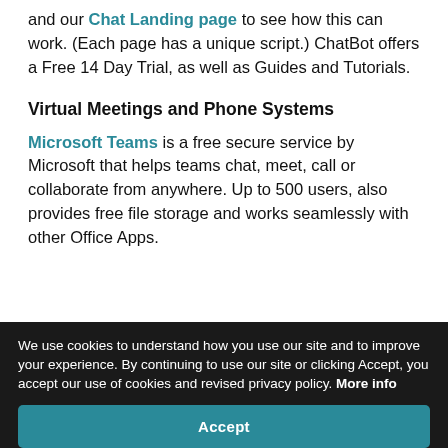and our Chat Landing page to see how this can work. (Each page has a unique script.) ChatBot offers a Free 14 Day Trial, as well as Guides and Tutorials.
Virtual Meetings and Phone Systems
Microsoft Teams is a free secure service by Microsoft that helps teams chat, meet, call or collaborate from anywhere. Up to 500 users, also provides free file storage and works seamlessly with other Office Apps.
We use cookies to understand how you use our site and to improve your experience. By continuing to use our site or clicking Accept, you accept our use of cookies and revised privacy policy. More info
Accept